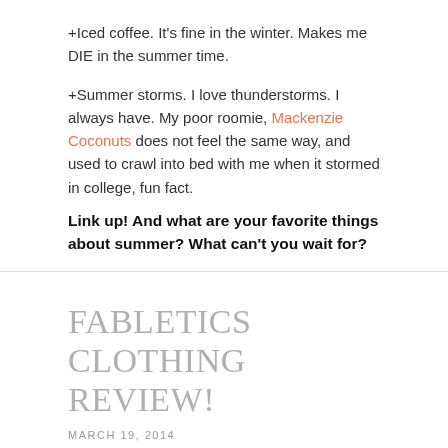+Iced coffee.  It's fine in the winter.  Makes me DIE in the summer time.
+Summer storms.  I love thunderstorms.  I always have.  My poor roomie, Mackenzie Coconuts does not feel the same way, and used to crawl into bed with me when it stormed in college, fun fact.
Link up!  And what are your favorite things about summer?  What can't you wait for?
FABLETICS CLOTHING REVIEW!
MARCH 19, 2014
[Figure (photo): Partial text graphic reading 'SHAPE' with a woman's face visible between the letters, only the bottom portion of the image is shown]